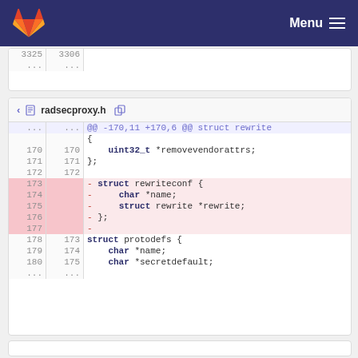GitLab — Menu
[Figure (screenshot): Partial diff block showing line numbers 3325 / 3306 with ellipsis]
radsecproxy.h
| old | new | diff |
| --- | --- | --- |
| ... | ... | @@ -170,11 +170,6 @@ struct rewrite |
|  |  | { |
| 170 | 170 |     uint32_t *removevendorattrs; |
| 171 | 171 | }; |
| 172 | 172 |  |
| 173 |  | - struct rewriteconf { |
| 174 |  | - char *name; |
| 175 |  | - struct rewrite *rewrite; |
| 176 |  | - }; |
| 177 |  | - |
| 178 | 173 | struct protodefs { |
| 179 | 174 |     char *name; |
| 180 | 175 |     char *secretdefault; |
| ... | ... |  |